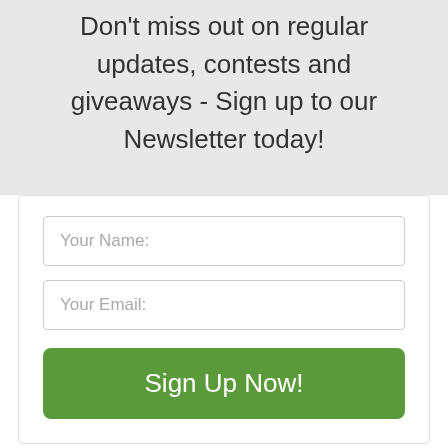Don't miss out on regular updates, contests and giveaways - Sign up to our Newsletter today!
[Figure (other): Newsletter signup form with Your Name and Your Email input fields and a green Sign Up Now! button]
Recent Posts